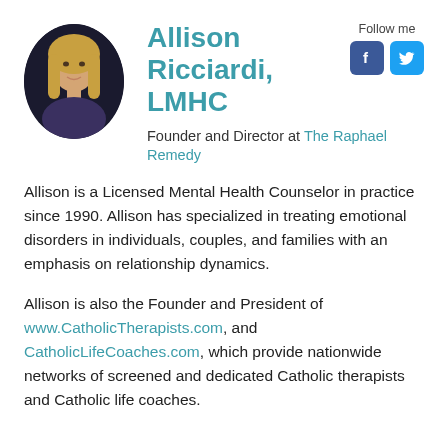[Figure (photo): Oval-cropped headshot of Allison Ricciardi, a woman with blonde hair, against a dark background]
Allison Ricciardi, LMHC
Founder and Director at The Raphael Remedy
[Figure (logo): Follow me social icons: Facebook (blue f) and Twitter (blue bird)]
Allison is a Licensed Mental Health Counselor in practice since 1990. Allison has specialized in treating emotional disorders in individuals, couples, and families with an emphasis on relationship dynamics.
Allison is also the Founder and President of www.CatholicTherapists.com, and CatholicLifeCoaches.com, which provide nationwide networks of screened and dedicated Catholic therapists and Catholic life coaches.